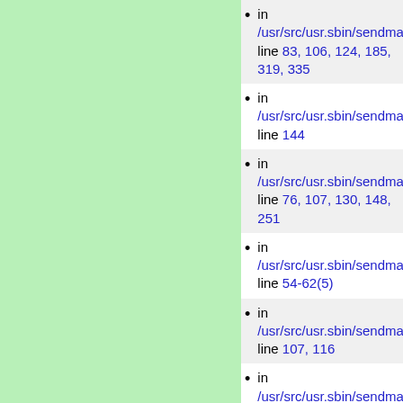[Figure (other): Light green rectangular panel on the left side of the page]
in /usr/src/usr.sbin/sendma line 83, 106, 124, 185, 319, 335
in /usr/src/usr.sbin/sendma line 144
in /usr/src/usr.sbin/sendma line 76, 107, 130, 148, 251
in /usr/src/usr.sbin/sendma line 54-62(5)
in /usr/src/usr.sbin/sendma line 107, 116
in /usr/src/usr.sbin/sendma line 27, 36-38(2)
in /usr/src/usr.sbin/sendma line 97, 108, 125
in /usr/src/usr.sbin/sendma